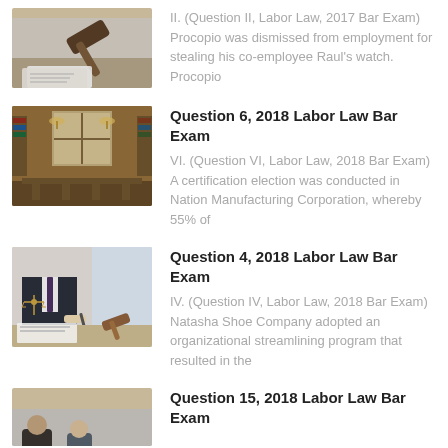[Figure (photo): Gavel and papers on a desk (partial, top clipped)]
II. (Question II, Labor Law, 2017 Bar Exam) Procopio was dismissed from employment for stealing his co-employee Raul's watch. Procopio
[Figure (photo): Grand library reading room with chandeliers and long wooden tables]
Question 6, 2018 Labor Law Bar Exam
VI. (Question VI, Labor Law, 2018 Bar Exam) A certification election was conducted in Nation Manufacturing Corporation, whereby 55% of
[Figure (photo): Lawyer in suit writing at desk with scales of justice and gavel]
Question 4, 2018 Labor Law Bar Exam
IV. (Question IV, Labor Law, 2018 Bar Exam) Natasha Shoe Company adopted an organizational streamlining program that resulted in the
[Figure (photo): Lawyers or professionals in a meeting (partial, bottom clipped)]
Question 15, 2018 Labor Law Bar Exam